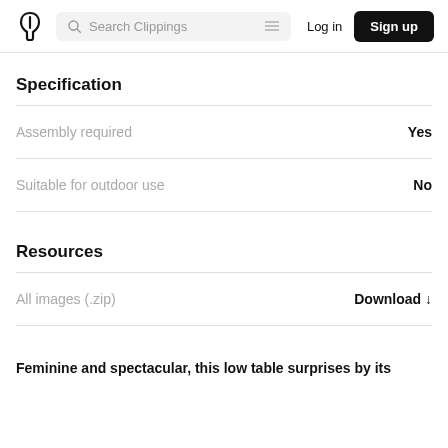Search Clippings | Log in | Sign up
Specification
| Property | Value |
| --- | --- |
| Assembly required | Yes |
| Suitable for outdoor use | No |
Resources
| Resource | Action |
| --- | --- |
| All images (.zip) | Download ↓ |
Feminine and spectacular, this low table surprises by its